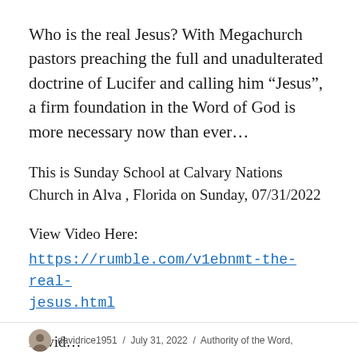Who is the real Jesus? With Megachurch pastors preaching the full and unadulterated doctrine of Lucifer and calling him “Jesus”, a firm foundation in the Word of God is more necessary now than ever…
This is Sunday School at Calvary Nations Church in Alva , Florida on Sunday, 07/31/2022
View Video Here:
https://rumble.com/v1ebnmt-the-real-jesus.html
David…
davidrice1951 / July 31, 2022 / Authority of the Word,